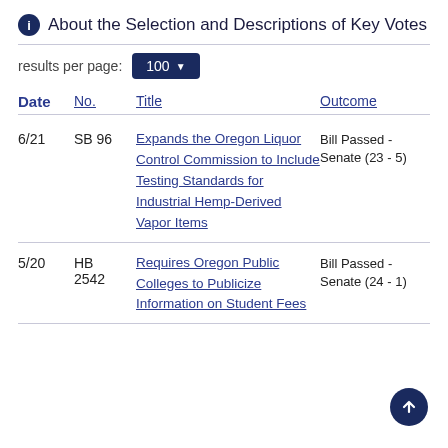About the Selection and Descriptions of Key Votes
results per page: 100
| Date | No. | Title | Outcome |
| --- | --- | --- | --- |
| 6/21 | SB 96 | Expands the Oregon Liquor Control Commission to Include Testing Standards for Industrial Hemp-Derived Vapor Items | Bill Passed - Senate (23 - 5) |
| 5/20 | HB 2542 | Requires Oregon Public Colleges to Publicize Information on Student Fees | Bill Passed - Senate (24 - 1) |